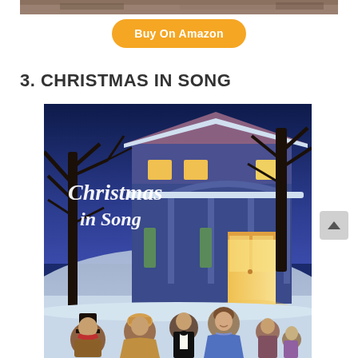[Figure (photo): Partial top strip of a photo/image cropped at the top of the page]
Buy On Amazon
3. CHRISTMAS IN SONG
[Figure (illustration): Album cover for 'Christmas in Song' showing a vintage illustrated scene of a snowy winter night with a house, bare trees, and carol singers in Victorian-era clothing gathered on a porch. The title 'Christmas in Song' is written in white script lettering over the scene.]